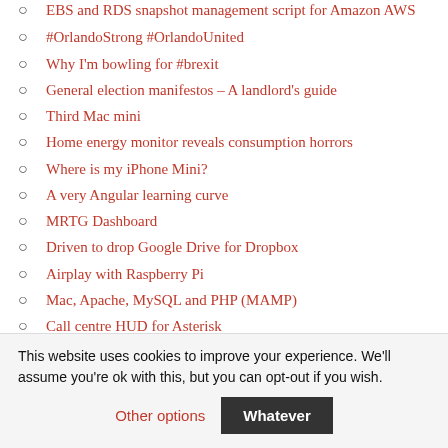EBS and RDS snapshot management script for Amazon AWS
#OrlandoStrong #OrlandoUnited
Why I'm bowling for #brexit
General election manifestos – A landlord's guide
Third Mac mini
Home energy monitor reveals consumption horrors
Where is my iPhone Mini?
A very Angular learning curve
MRTG Dashboard
Driven to drop Google Drive for Dropbox
Airplay with Raspberry Pi
Mac, Apache, MySQL and PHP (MAMP)
Call centre HUD for Asterisk
London 2012 Olympic Games
Diamond Jubilee 2012
This website uses cookies to improve your experience. We'll assume you're ok with this, but you can opt-out if you wish.
Other options | Whatever